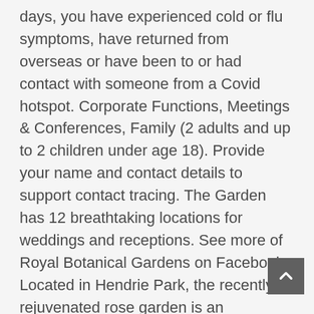days, you have experienced cold or flu symptoms, have returned from overseas or have been to or had contact with someone from a Covid hotspot. Corporate Functions, Meetings & Conferences, Family (2 adults and up to 2 children under age 18). Provide your name and contact details to support contact tracing. The Garden has 12 breathtaking locations for weddings and receptions. See more of Royal Botanical Gardens on Facebook. Located in Hendrie Park, the recently rejuvenated rose garden is an innovative, sustainable and inspiring experience, the quintessential rose garden for Canada's largest botanical garden. No matter what day or what month you choose to visit the Norfolk Botanical Garden, you'll always find something in bloom. A world of discovery awaits primary students at the Royal Botanic Garden Sydney. Perennials are blooming and annuals are at their best. Using environmentally-friendly treatments couldn't outweigh the reality that we were growing a large monoculture of disease-prone Hybrid Tea and Floribunda roses in the shadow of large shade trees. As a botanical garden, Royal Botanical Gardens acquires, collects, researches, exhibits,